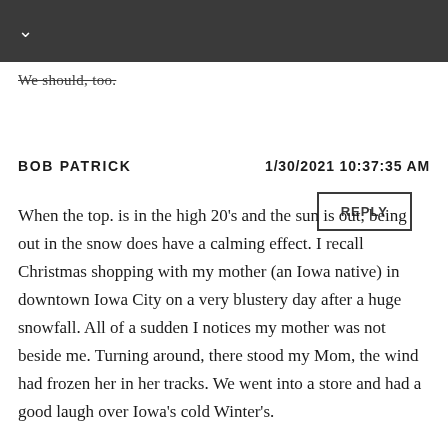∨
We should, too.
REPLY
BOB PATRICK   1/30/2021 10:37:35 AM
When the top. is in the high 20's and the sun is out, being out in the snow does have a calming effect. I recall Christmas shopping with my mother (an Iowa native) in downtown Iowa City on a very blustery day after a huge snowfall. All of a sudden I notices my mother was not beside me. Turning around, there stood my Mom, the wind had frozen her in her tracks. We went into a store and had a good laugh over Iowa's cold Winter's.